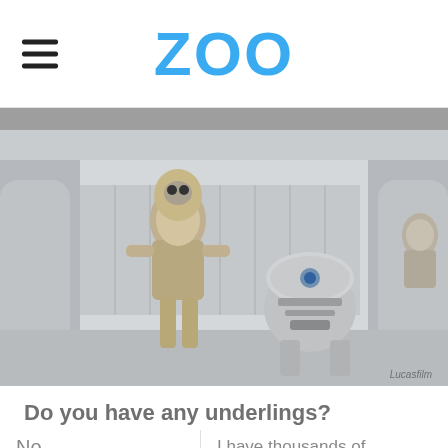ZOO
[Figure (photo): A grayscale image of Star Wars droids C-3PO and R2-D2 standing together in a corridor-like setting. Credit text reads 'Lucasfilm' in the bottom right corner.]
Do you have any underlings?
No
I have thousands of underlings (and I love it)